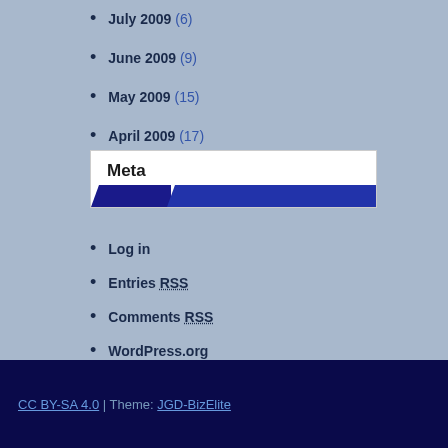July 2009 (6)
June 2009 (9)
May 2009 (15)
April 2009 (17)
Meta
Log in
Entries RSS
Comments RSS
WordPress.org
CC BY-SA 4.0 | Theme: JGD-BizElite